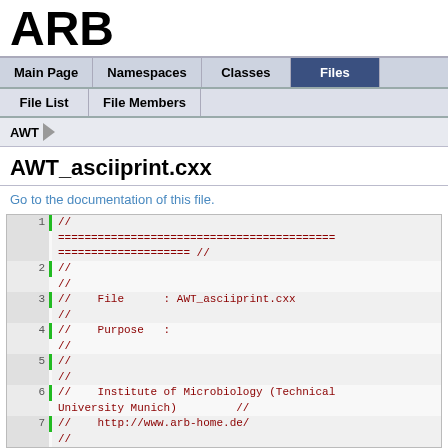ARB
Main Page | Namespaces | Classes | Files
File List | File Members
AWT
AWT_asciiprint.cxx
Go to the documentation of this file.
[Figure (screenshot): Source code listing of AWT_asciiprint.cxx lines 1-7 with line numbers and green bar indicators. Code comments in dark red monospace font showing file header with // separators, File: AWT_asciiprint.cxx, Purpose:, Institute of Microbiology (Technical University Munich) //, http://www.arb-home.de/]